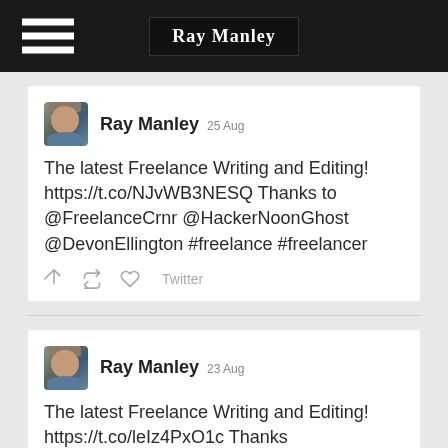Ray Manley
Ray Manley  25 Aug
The latest Freelance Writing and Editing! https://t.co/NJvWB3NESQ Thanks to @FreelanceCrnr @HackerNoonGhost @DevonEllington #freelance #freelancer
Ray Manley  23 Aug
The latest Freelance Writing and Editing! https://t.co/leIz4PxO1c Thanks